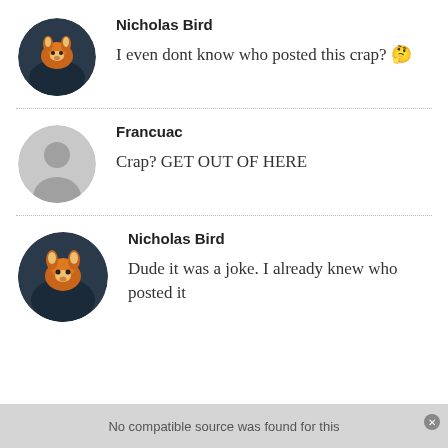Nicholas Bird
I even dont know who posted this crap? 🤔
Francuac
Crap? GET OUT OF HERE
Nicholas Bird
Dude it was a joke. I already knew who posted it
No compatible source was found for this